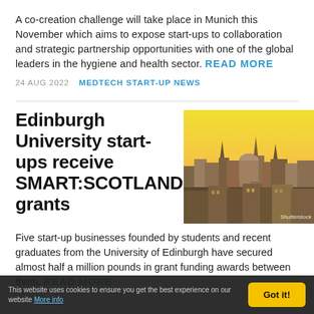A co-creation challenge will take place in Munich this November which aims to expose start-ups to collaboration and strategic partnership opportunities with one of the global leaders in the hygiene and health sector. READ MORE
24 AUG 2022   MEDTECH START-UP NEWS
Edinburgh University start-ups receive SMART:SCOTLAND grants
[Figure (photo): Aerial view of Edinburgh cityscape at golden hour with warm yellow sky, domed buildings and spires visible, Shutterstock watermark in lower right corner]
Five start-up businesses founded by students and recent graduates from the University of Edinburgh have secured almost half a million pounds in grant funding awards between them. READ MORE
This website uses cookies to ensure you get the best experience on our website More info   Got it!